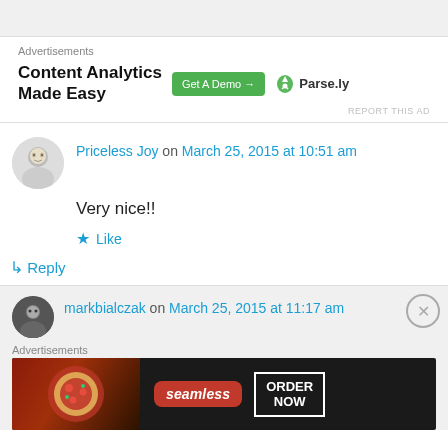[Figure (other): Gray top bar header area]
Advertisements
[Figure (other): Advertisement banner: Content Analytics Made Easy - Get A Demo button - Parse.ly logo]
REPORT THIS AD
Priceless Joy on March 25, 2015 at 10:51 am
Very nice!!
Like
Reply
markbialczak on March 25, 2015 at 11:17 am
Advertisements
[Figure (other): Seamless food delivery advertisement banner with pizza image, seamless logo and ORDER NOW button]